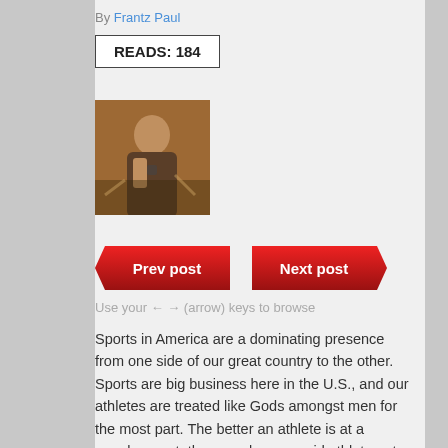By Frantz Paul
READS: 184
[Figure (photo): Small profile photo of a person in a suit, warm brownish tones]
[Figure (other): Navigation buttons: Prev post and Next post in red arrow/chevron style]
Use your ← → (arrow) keys to browse
Sports in America are a dominating presence from one side of our great country to the other. Sports are big business here in the U.S., and our athletes are treated like Gods amongst men for the most part. The better an athlete is at a popular sport, the more leeway said athlete gets in regards to certain infractions the athlete may accrue. Whether is be at the professional level, college, or your local high school, some shenanigans is happening in America, and some troublesome athlete is getting away with it. Doesn't make it fair, definitely doesn't make it right that because an athlete entertains us that they should be above any law, but, such is